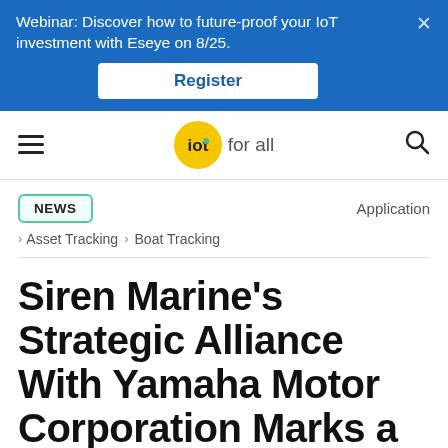Webinar: Discover how to future-proof your IoT investment with Eseye on 8/25. Register
[Figure (logo): IoT For All logo — yellow circle with 'iot' text and navigation bar with hamburger menu and search icon]
NEWS
Application
Asset Tracking > Boat Tracking
Siren Marine's Strategic Alliance With Yamaha Motor Corporation Marks a Milestone in the